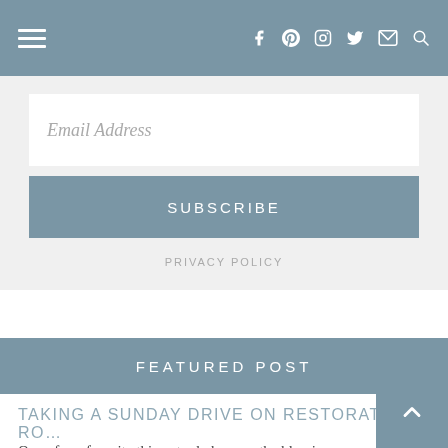Navigation bar with hamburger menu and social icons: f, p, Instagram, Twitter, email, search
Email Address
SUBSCRIBE
PRIVACY POLICY
FEATURED POST
TAKING A SUNDAY DRIVE ON RESTORATION RO...
One of my favorite things to do here on the blog i... tell stories, especially stories about people.  Today's